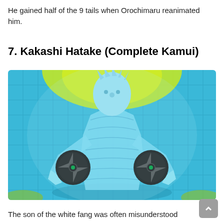He gained half of the 9 tails when Orochimaru reanimated him.
7. Kakashi Hatake (Complete Kamui)
[Figure (illustration): Anime illustration of Kakashi Hatake in Complete Kamui form — a glowing blue ethereal figure with geometric tile patterns, holding two black shurikens with tomoe, set against a yellow-green glowing aura background.]
The son of the white fang was often misunderstood